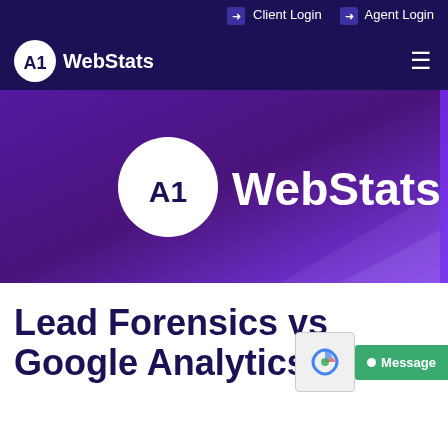➡ Client Login  ➡ Agent Login
[Figure (logo): A1WebStats logo in navigation bar — white circle with A1 text, followed by WebStats in white on dark navy background, with hamburger menu icon on right]
[Figure (illustration): A1WebStats hero banner — large A1WebStats logo centered on purple gradient background]
Lead Forensics vs Google Analytics v…